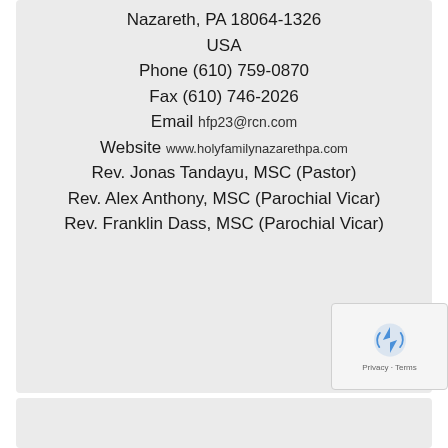Nazareth, PA 18064-1326
USA
Phone (610) 759-0870
Fax (610) 746-2026
Email hfp23@rcn.com
Website www.holyfamilynazarethpa.com
Rev. Jonas Tandayu, MSC (Pastor)
Rev. Alex Anthony, MSC (Parochial Vicar)
Rev. Franklin Dass, MSC (Parochial Vicar)